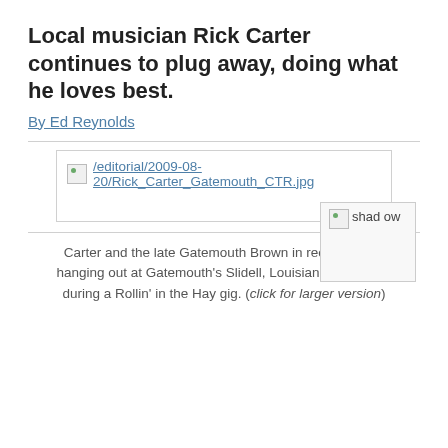Local musician Rick Carter continues to plug away, doing what he loves best.
By Ed Reynolds
[Figure (photo): Broken image link showing /editorial/2009-08-20/Rick_Carter_Gatemouth_CTR.jpg with a shadow image overlay]
Carter and the late Gatemouth Brown in recent years, hanging out at Gatemouth’s Slidell, Louisiana, BBQ joint during a Rollin’ in the Hay gig. (click for larger version)